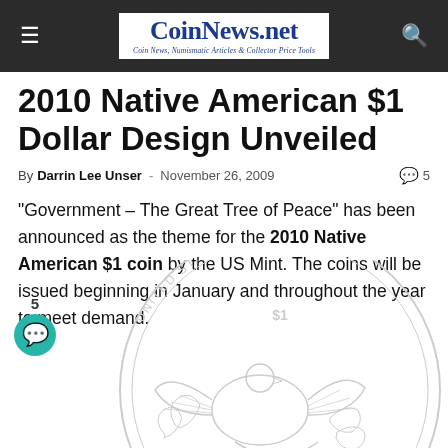CoinNews.net — Coin News, Numismatic Articles & Collector Price Tools
2010 Native American $1 Dollar Design Unveiled
By Darrin Lee Unser - November 26, 2009  5
"Government – The Great Tree of Peace" has been announced as the theme for the 2010 Native American $1 coin by the US Mint. The coins will be issued beginning in January and throughout the year to meet demand.
[Figure (illustration): Line drawing of the reverse side of the 2010 Native American $1 coin, showing an eagle and foliage design with text 'UNITED STATES OF AMERICA $1' around the edge]